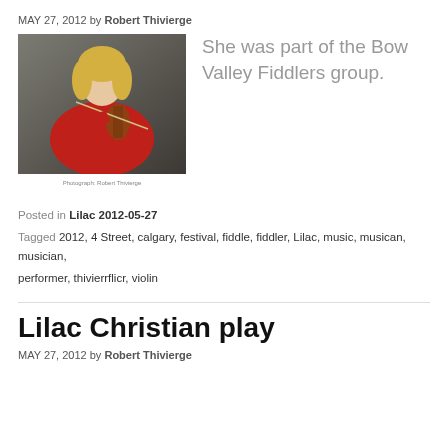MAY 27, 2012 by Robert Thivierge
[Figure (photo): Young girl playing violin wearing red top, performing at event]
Photograph: Robert Thivierge
She was part of the Bow Valley Fiddlers group.
Posted in Lilac 2012-05-27
Tagged 2012, 4 Street, calgary, festival, fiddle, fiddler, Lilac, music, musican, musician, performer, thivierrflicr, violin
Lilac Christian play
MAY 27, 2012 by Robert Thivierge